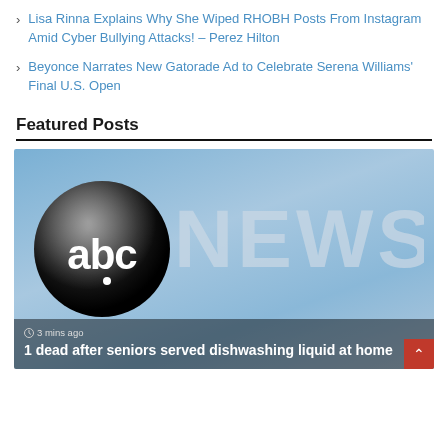Lisa Rinna Explains Why She Wiped RHOBH Posts From Instagram Amid Cyber Bullying Attacks! – Perez Hilton
Beyonce Narrates New Gatorade Ad to Celebrate Serena Williams' Final U.S. Open
Featured Posts
[Figure (screenshot): ABC News logo image on a blue gradient background with the text '3 mins ago' and headline '1 dead after seniors served dishwashing liquid at home']